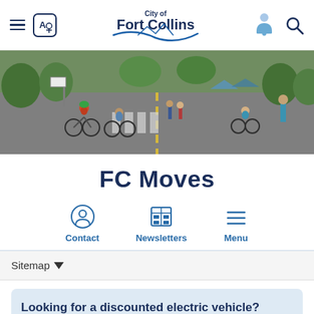City of Fort Collins — FC Moves
[Figure (photo): Street scene with many cyclists and pedestrians on a closed road, trees lining both sides, sunny day, community event]
FC Moves
[Figure (infographic): Three navigation icons: Contact (person icon), Newsletters (newspaper/grid icon), Menu (hamburger lines icon)]
Sitemap
Looking for a discounted electric vehicle?